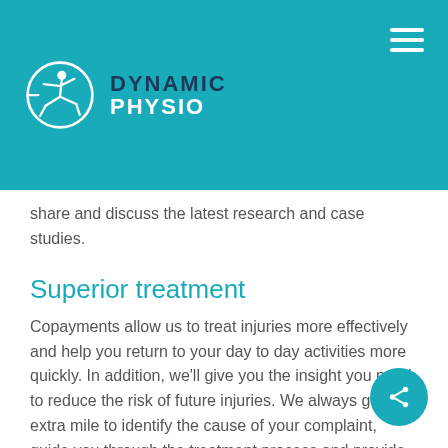[Figure (logo): Dynamic Physio logo with a figure in a lunge pose inside a white circle on a teal background, with the text DYNAMIC PHYSIO]
share and discuss the latest research and case studies.
Superior treatment
Copayments allow us to treat injuries more effectively and help you return to your day to day activities more quickly. In addition, we'll give you the insight you need to reduce the risk of future injuries. We always go the extra mile to identify the cause of your complaint, guide you through the treatment process and provide you with tools and insight to